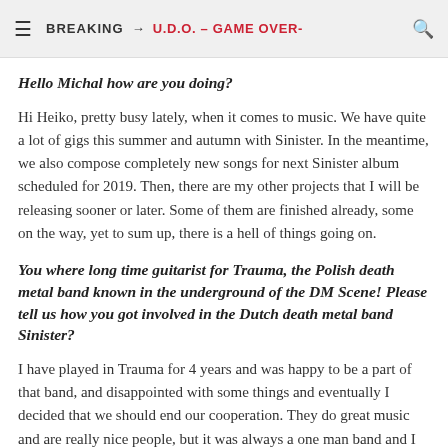BREAKING → U.D.O. – GAME OVER-
Hello Michal how are you doing?
Hi Heiko, pretty busy lately, when it comes to music. We have quite a lot of gigs this summer and autumn with Sinister. In the meantime, we also compose completely new songs for next Sinister album scheduled for 2019. Then, there are my other projects that I will be releasing sooner or later. Some of them are finished already, some on the way, yet to sum up, there is a hell of things going on.
You where long time guitarist for Trauma, the Polish death metal band known in the underground of the DM Scene! Please tell us how you got involved in the Dutch death metal band Sinister?
I have played in Trauma for 4 years and was happy to be a part of that band, and disappointed with some things and eventually I decided that we should end our cooperation. They do great music and are really nice people, but it was always a one man band and I needed some space to compose new songs etc. which I found in Sinister.